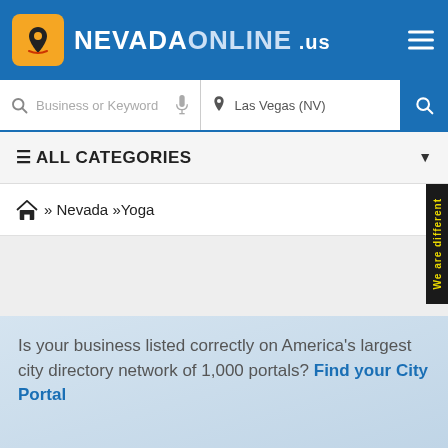NEVADAONLINE .us
[Figure (screenshot): Search bar with 'Business or Keyword' and 'Las Vegas (NV)' fields and a blue search button]
≡ ALL CATEGORIES
⌂ » Nevada »Yoga
We are different
Is your business listed correctly on America's largest city directory network of 1,000 portals? Find your City Portal
CLAIM YOUR LISTING NOW